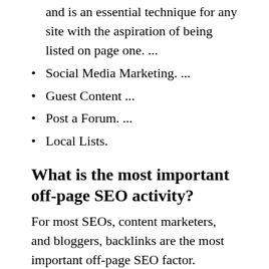and is an essential technique for any site with the aspiration of being listed on page one. ...
Social Media Marketing. ...
Guest Content ...
Post a Forum. ...
Local Lists.
What is the most important off-page SEO activity?
For most SEOs, content marketers, and bloggers, backlinks are the most important off-page SEO factor.
What is the importance of off-page SEO?